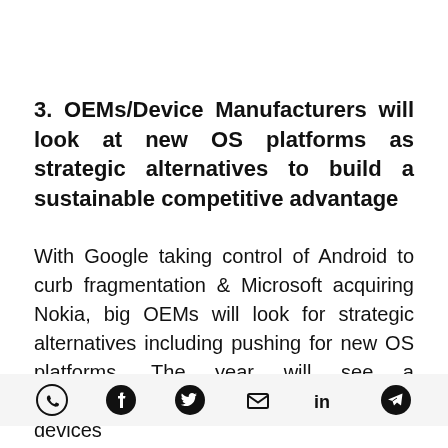3. OEMs/Device Manufacturers will look at new OS platforms as strategic alternatives to build a sustainable competitive advantage
With Google taking control of Android to curb fragmentation & Microsoft acquiring Nokia, big OEMs will look for strategic alternatives including pushing for new OS platforms. The year will see a consolidation of operating systems and the devices
[Figure (other): Social sharing icons row: WhatsApp, Facebook, Twitter/X, Email, LinkedIn, Telegram]